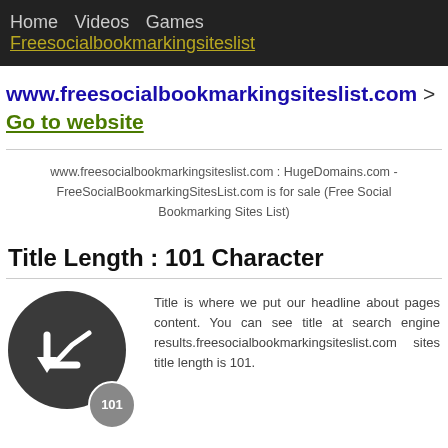Home  Videos  Games  Freesocialbookmarksiteslist
www.freesocialbookmarkingsiteslist.com > Go to website
www.freesocialbookmarkingsiteslist.com : HugeDomains.com - FreeSocialBookmarkingSitesList.com is for sale (Free Social Bookmarking Sites List)
Title Length : 101 Character
[Figure (illustration): Dark circle icon with a graph/arrow symbol inside, and a smaller circle badge showing '101']
Title is where we put our headline about pages content. You can see title at search engine results.freesocialbookmarkingsiteslist.com sites title length is 101.